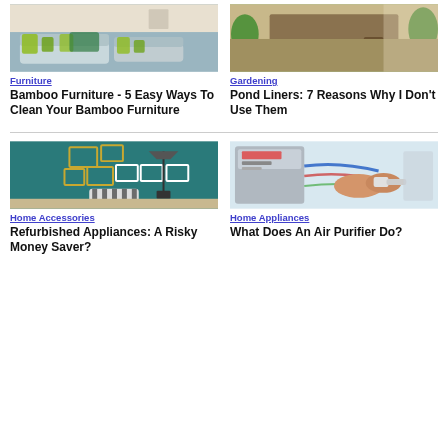[Figure (photo): Living room with gray sofas, green pillows and cushions]
Furniture
Bamboo Furniture - 5 Easy Ways To Clean Your Bamboo Furniture
[Figure (photo): Garden/patio area with wooden furniture and green plants]
Gardening
Pond Liners: 7 Reasons Why I Don't Use Them
[Figure (photo): Teal room with picture frames on wall and striped chair]
Home Accessories
Refurbished Appliances: A Risky Money Saver?
[Figure (photo): Technician working with air purifier or medical equipment with cables]
Home Appliances
What Does An Air Purifier Do?